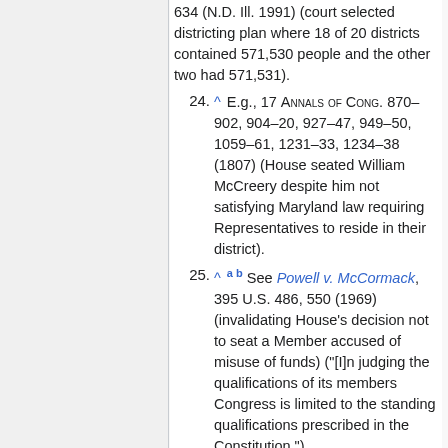634 (N.D. Ill. 1991) (court selected districting plan where 18 of 20 districts contained 571,530 people and the other two had 571,531).
24. ^ E.g., 17 Annals of Cong. 870–902, 904–20, 927–47, 949–50, 1059–61, 1231–33, 1234–38 (1807) (House seated William McCreery despite him not satisfying Maryland law requiring Representatives to reside in their district).
25. ^ a b See Powell v. McCormack, 395 U.S. 486, 550 (1969) (invalidating House's decision not to seat a Member accused of misuse of funds) ("[I]n judging the qualifications of its members Congress is limited to the standing qualifications prescribed in the Constitution.").
26. ^ See Exon v. Tiemann, 279 F. Supp. 609, 613 (D. Neb. 1968) ("There being no such requirement in the